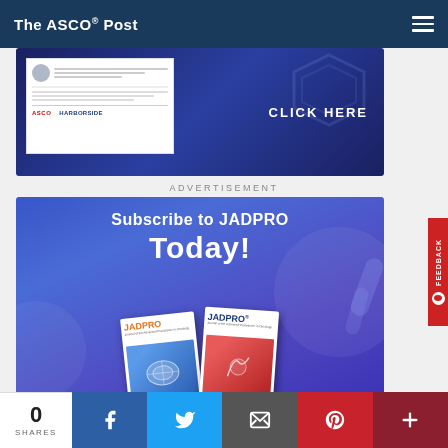The ASCO Post
[Figure (screenshot): Advertisement banner with ASCO and HARBORSIDE logos, showing a document flyer and CLICK HERE button, on a dark blue background with hexagon graphics]
ADVERTISEMENT
[Figure (screenshot): JADPRO subscription advertisement with text 'Subscribe to JADPRO Today!' on blue/purple background, showing two JADPRO journal magazine covers]
0 SHARES — Facebook, Twitter, Email, Pinterest, More share buttons